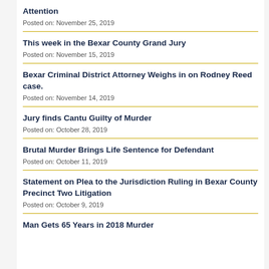Attention
Posted on: November 25, 2019
This week in the Bexar County Grand Jury
Posted on: November 15, 2019
Bexar Criminal District Attorney Weighs in on Rodney Reed case.
Posted on: November 14, 2019
Jury finds Cantu Guilty of Murder
Posted on: October 28, 2019
Brutal Murder Brings Life Sentence for Defendant
Posted on: October 11, 2019
Statement on Plea to the Jurisdiction Ruling in Bexar County Precinct Two Litigation
Posted on: October 9, 2019
Man Gets 65 Years in 2018 Murder